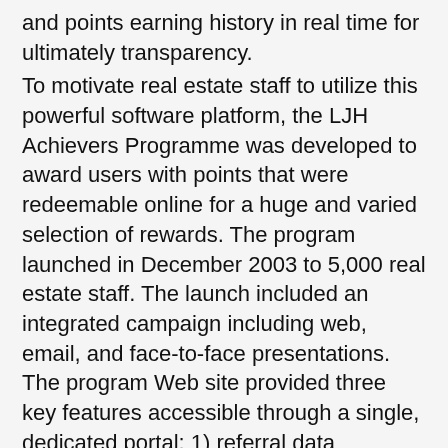and points earning history in real time for ultimately transparency.
To motivate real estate staff to utilize this powerful software platform, the LJH Achievers Programme was developed to award users with points that were redeemable online for a huge and varied selection of rewards. The program launched in December 2003 to 5,000 real estate staff. The launch included an integrated campaign including web, email, and face-to-face presentations. The program Web site provided three key features accessible through a single, dedicated portal: 1) referral data management; 2) reward management; and 3) communications.
The program Web site was a key communication initiative, and also the primary program administration, reward fulfillment and reporting tool. The Web site provided a central hub through which LJ Hooker was able to communicate both strategically and tactically through active and passive execution. Visitors to the site